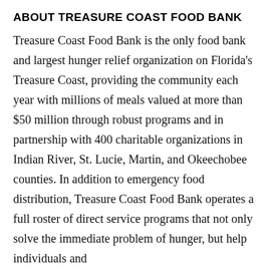ABOUT TREASURE COAST FOOD BANK
Treasure Coast Food Bank is the only food bank and largest hunger relief organization on Florida's Treasure Coast, providing the community each year with millions of meals valued at more than $50 million through robust programs and in partnership with 400 charitable organizations in Indian River, St. Lucie, Martin, and Okeechobee counties. In addition to emergency food distribution, Treasure Coast Food Bank operates a full roster of direct service programs that not only solve the immediate problem of hunger, but help individuals and